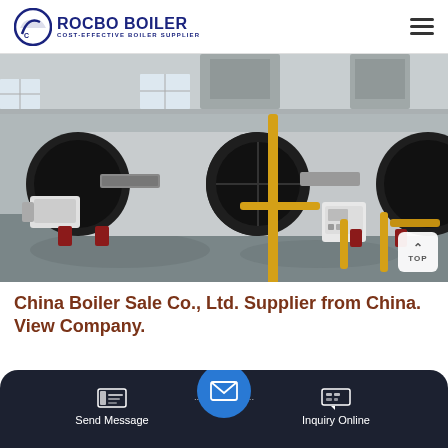ROCBO BOILER — COST-EFFECTIVE BOILER SUPPLIER
[Figure (photo): Industrial boiler room with multiple horizontal cylindrical boilers (silver/black), yellow gas pipes, and control equipment on a factory floor]
China Boiler Sale Co., Ltd. Supplier from China. View Company.
Send Message | Inquiry Online